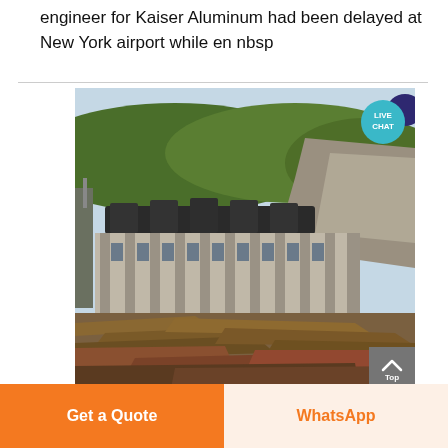engineer for Kaiser Aluminum had been delayed at New York airport while en nbsp
[Figure (photo): Photograph of a large industrial or hydroelectric dam/plant construction site with a concrete multi-column structure in the center, green tree-covered hills and rocky cliffs in the background, and scattered timber/metal debris in the foreground. A LIVE CHAT speech bubble UI overlay appears in the top-right corner.]
Top (scroll-to-top button)
Get a Quote
WhatsApp